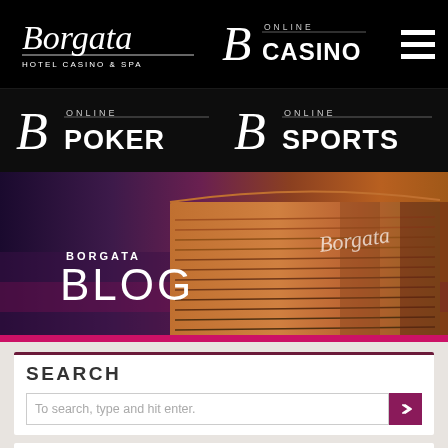[Figure (screenshot): Borgata Hotel Casino & Spa navigation header with logos for Borgata Hotel Casino & Spa, Borgata Online Casino, hamburger menu, Borgata Online Poker, and Borgata Online Sports on black background]
[Figure (photo): Borgata Blog hero banner with purple-to-orange gradient background showing the Borgata hotel building exterior at dusk, with BORGATA BLOG text overlay and pink stripe at bottom]
SEARCH
To search, type and hit enter.
Online Gaming Winners for July 30 – Aug 5
AUG 13